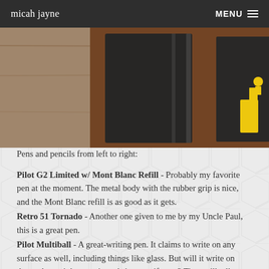micah jayne | MENU
[Figure (photo): Photo of notebooks and stationery items arranged on a dark wooden surface: several black notebooks, a black notebook with yellow/green strap and accessories, and two orange/tan Rhodia notebooks.]
Pens and pencils from left to right:
Pilot G2 Limited w/ Mont Blanc Refill - Probably my favorite pen at the moment. The metal body with the rubber grip is nice, and the Mont Blanc refill is as good as it gets.
Retro 51 Tornado - Another one given to me by my Uncle Paul, this is a great pen.
Pilot Multiball - A great-writing pen. It claims to write on any surface as well, including things like glass. But will it write on those glossy, ink-smearing, christmas gift tags? Time will tell.
Stabilo Bionic Worker - Cool-looking pen, and the all-